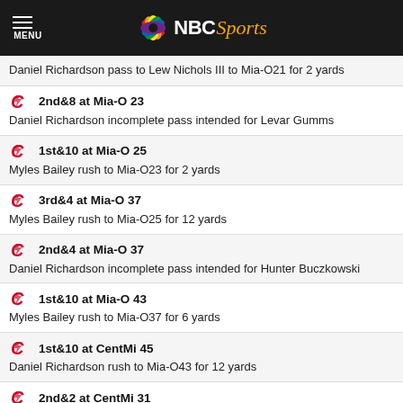NBC Sports
Daniel Richardson pass to Lew Nichols III to Mia-O21 for 2 yards
2nd&8 at Mia-O 23 | Daniel Richardson incomplete pass intended for Levar Gumms
1st&10 at Mia-O 25 | Myles Bailey rush to Mia-O23 for 2 yards
3rd&4 at Mia-O 37 | Myles Bailey rush to Mia-O25 for 12 yards
2nd&4 at Mia-O 37 | Daniel Richardson incomplete pass intended for Hunter Buczkowski
1st&10 at Mia-O 43 | Myles Bailey rush to Mia-O37 for 6 yards
1st&10 at CentMi 45 | Daniel Richardson rush to Mia-O43 for 12 yards
2nd&2 at CentMi 31 | Daniel Richardson pass to Remi Simmons to CentMi45 for 14 yards
1st&10 at CentMi 23 | (12:27) Daniel Richardson pass to JaCorey Sullivan to CentMi21 for 8 yards